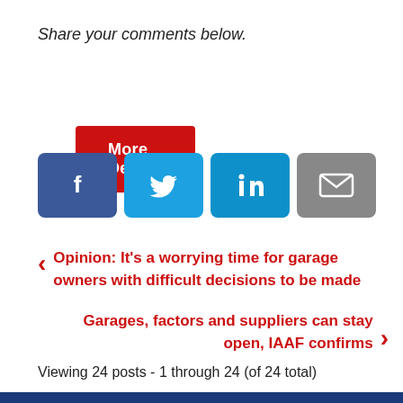Share your comments below.
More Details
[Figure (other): Social sharing buttons: Facebook, Twitter, LinkedIn, Email]
Opinion: It's a worrying time for garage owners with difficult decisions to be made
Garages, factors and suppliers can stay open, IAAF confirms
Viewing 24 posts - 1 through 24 (of 24 total)